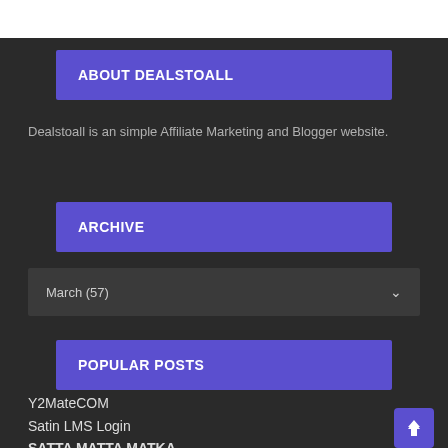ABOUT DEALSTOALL
Dealstoall is an simple Affiliate Marketing and Blogger website.
ARCHIVE
March (57)
POPULAR POSTS
Y2MateCOM
Satin LMS Login
SATTA MATTA MATKA